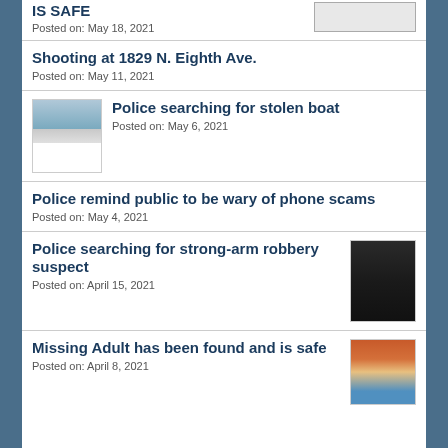IS SAFE
Posted on: May 18, 2021
Shooting at 1829 N. Eighth Ave.
Posted on: May 11, 2021
[Figure (photo): Thumbnail image of a white boat on water]
Police searching for stolen boat
Posted on: May 6, 2021
Police remind public to be wary of phone scams
Posted on: May 4, 2021
[Figure (photo): Thumbnail image of a person in dark clothing, possible robbery suspect]
Police searching for strong-arm robbery suspect
Posted on: April 15, 2021
[Figure (photo): Thumbnail image of a woman with red hair]
Missing Adult has been found and is safe
Posted on: April 8, 2021